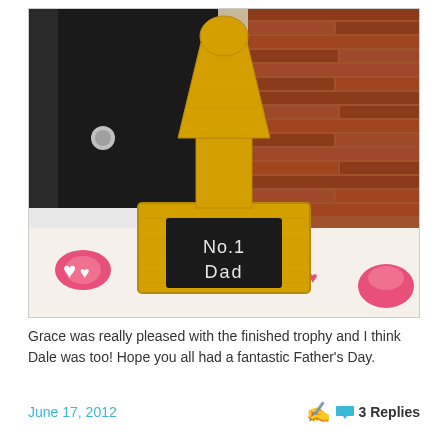[Figure (photo): A homemade gold-painted trophy with a black label reading 'No.1 Dad' in chalk/white handwriting, sitting on a floral tablecloth with a brick wall and dark door in the background.]
Grace was really pleased with the finished trophy and I think Dale was too! Hope you all had a fantastic Father’s Day.
June 17, 2012
3 Replies